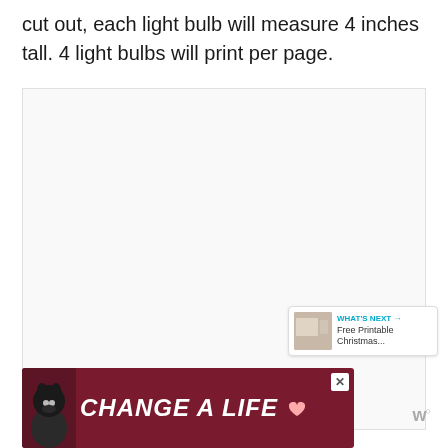cut out, each light bulb will measure 4 inches tall. 4 light bulbs will print per page.
[Figure (other): Large blank/light gray image placeholder area, likely for a printable light bulb craft template]
[Figure (infographic): Social media UI overlay: cyan heart/like button showing 1.7K likes, and a share button (circle with share icon)]
[Figure (infographic): What's Next promotional box with arrow label, thumbnail image, and text 'Free Printable Christmas...']
[Figure (infographic): Advertisement banner with dark red background, dog photo on left, bold white italic text 'CHANGE A LIFE' with heart, and a close X button. W logo to the right.]